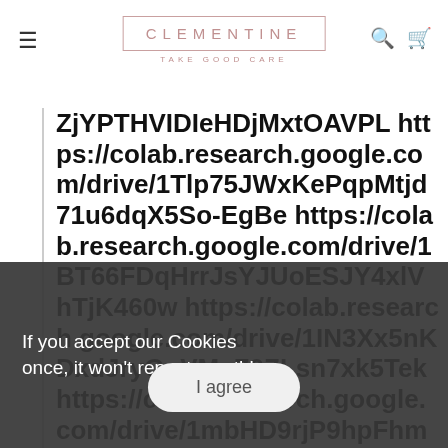CLEMENTINE — TAKE GOOD CARE
ZjYPTHVIDIeHDjMxtOAVPL https://colab.research.google.com/drive/1Tlp75JWxKePqpMtjd71u6dqX5So-EgBe https://colab.research.google.com/drive/1BT66FDqHrrJsYJUoESJY4xlVhTjK460w https://colab.research.google.com/drive/1IN3Xx5nKDxdJryGqVMsZ9ZLsn7xk5Tek https://colab.research.google.com/drive/1mbHD9rjP9hpFhmE43ZZjUGIRuLKrbAdT https://colab.research.google.com/drive/1on2h6Heal71y1XPJwAf6S9EE1miufbRv
If you accept our Cookies once, it won't repeat monthly.
I agree